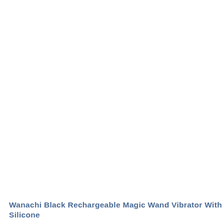Wanachi Black Rechargeable Magic Wand Vibrator With Silicone